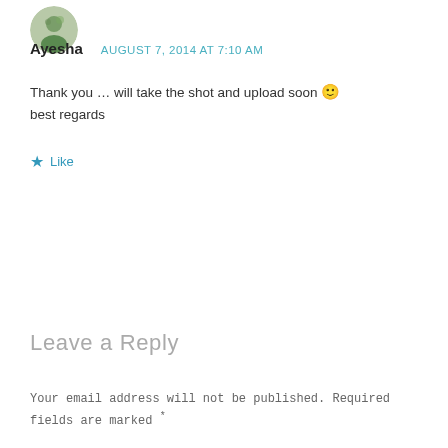[Figure (photo): Small circular avatar photo of a person]
Ayesha   AUGUST 7, 2014 AT 7:10 AM
Thank you ... will take the shot and upload soon 🙂
best regards
★ Like
Leave a Reply
Your email address will not be published. Required fields are marked *